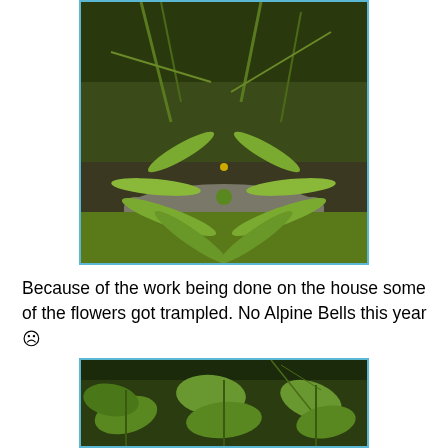[Figure (photo): A green plant with long narrow leaves growing from a central rosette, surrounded by grass and resting against a rock, with some dead leaves in the background.]
Because of the work being done on the house some of the flowers got trampled. No Alpine Bells this year ☹
[Figure (photo): A close-up photo of green leafy plants with broad oval leaves growing in a shaded area.]